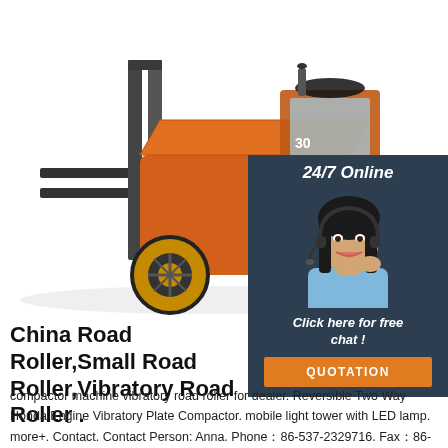[Figure (photo): Orange forklift machine on white background]
[Figure (photo): Customer service sidebar with '24/7 Online' header, photo of woman with headset, 'Click here for free chat!' text and orange QUOTATION button]
China Road Roller,Small Road Roller,Vibratory Road Roller .
compactor machine vibratory road roller for dealer. Reversible Two Way Honda Engine Vibratory Plate Compactor. mobile light tower with LED lamp. more+. Contact. Contact Person: Anna. Phone：86-537-2329716. Fax：86-537-2329018. Address：Incalcu Industrial Park, 327 National Road, High-tech Zone, Jining City,